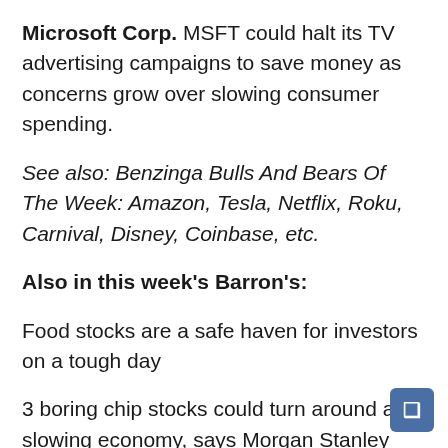Microsoft Corp. MSFT could halt its TV advertising campaigns to save money as concerns grow over slowing consumer spending.
See also: Benzinga Bulls And Bears Of The Week: Amazon, Tesla, Netflix, Roku, Carnival, Disney, Coinbase, etc.
Also in this week's Barron's:
Food stocks are a safe haven for investors on a tough day
3 boring chip stocks could turn around a slowing economy, says Morgan Stanley
A break in inflation is on the way, but it's the